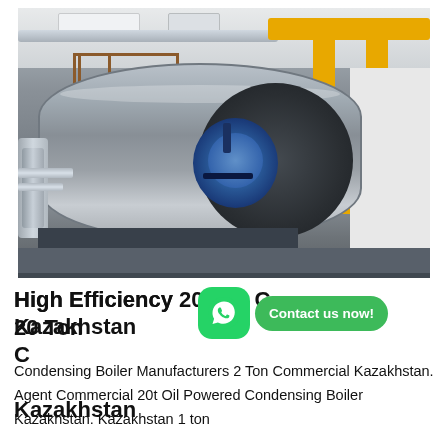[Figure (photo): Industrial boiler room showing a large horizontal cylindrical condensing boiler with a blue burner/motor attached to the front face. Yellow gas pipes run overhead and vertically on the right side. Silver insulation pipes are visible on the left. Rust-colored safety railing sits atop the boiler. The setting is a clean industrial building with white walls and concrete floor.]
High Efficiency 20 Ton Condensing Boiler Kazakhstan
Condensing Boiler Manufacturers 2 Ton Commercial Kazakhstan. Agent Commercial 20t Oil Powered Condensing Boiler Kazakhstan. Kazakhstan 1 ton